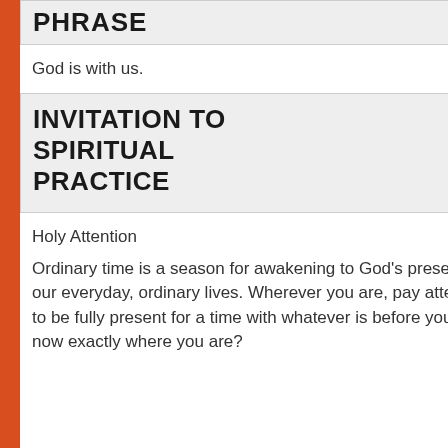PHRASE
God is with us.
INVITATION TO SPIRITUAL PRACTICE
Holy Attention
Ordinary time is a season for awakening to God's presence in all the details and circumstances of our everyday, ordinary lives. Wherever you are, pay attention to your surroundings. Allow yourself to be fully present for a time with whatever is before you. Where do you sense God with you right now exactly where you are?
see
spir
hon
Con
of G
wel
lov
con
that
the
eve
as a
Goo
pro
safe
for
exp
dee
con
wit
Chr
eac
Me
and
finc
con
that